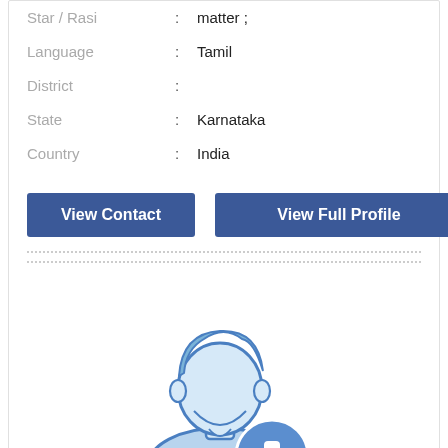Star / Rasi : matter ;
Language : Tamil
District :
State : Karnataka
Country : India
View Contact
View Full Profile
[Figure (illustration): Person avatar icon with a blue plus/add badge in the bottom right corner]